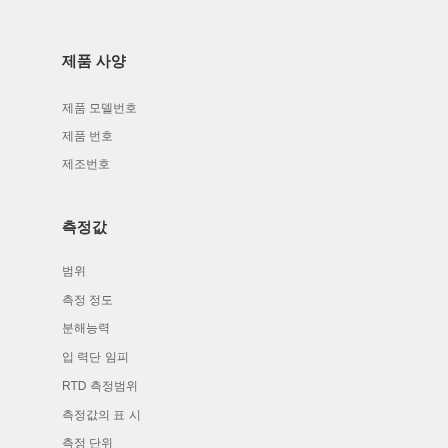제품 사양
제품 모델번호
제품 번호
제조번호
측정값
범위
측정 정도
분해능력
입 력단 임피
RTD 측정범위
측정값의 표 시
측정 단위
인터페